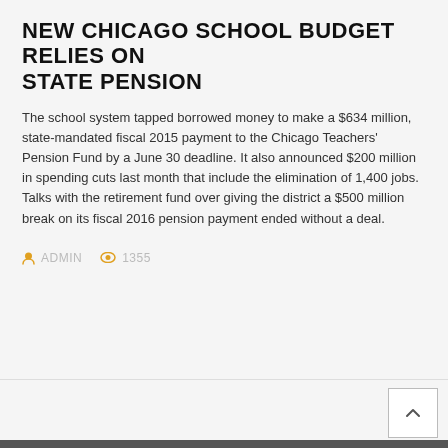NEW CHICAGO SCHOOL BUDGET RELIES ON STATE PENSION
The school system tapped borrowed money to make a $634 million, state-mandated fiscal 2015 payment to the Chicago Teachers' Pension Fund by a June 30 deadline. It also announced $200 million in spending cuts last month that include the elimination of 1,400 jobs. Talks with the retirement fund over giving the district a $500 million break on its fiscal 2016 pension payment ended without a deal.
ADMIN   1355